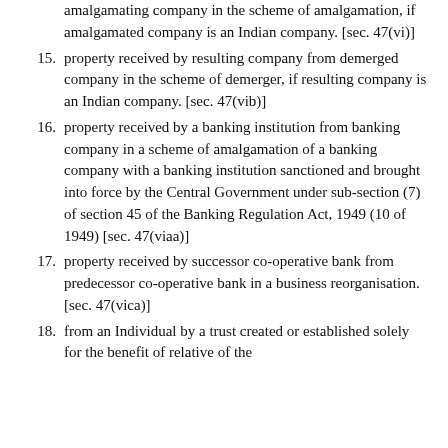(continuation) amalgamating company in the scheme of amalgamation, if amalgamated company is an Indian company. [sec. 47(vi)]
15. property received by resulting company from demerged company in the scheme of demerger, if resulting company is an Indian company. [sec. 47(vib)]
16. property received by a banking institution from banking company in a scheme of amalgamation of a banking company with a banking institution sanctioned and brought into force by the Central Government under sub-section (7) of section 45 of the Banking Regulation Act, 1949 (10 of 1949) [sec. 47(viaa)]
17. property received by successor co-operative bank from predecessor co-operative bank in a business reorganisation. [sec. 47(vica)]
18. from an Individual by a trust created or established solely for the benefit of relative of the